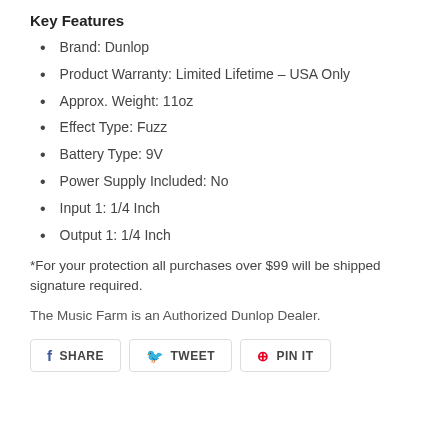Key Features
Brand: Dunlop
Product Warranty: Limited Lifetime - USA Only
Approx. Weight: 11oz
Effect Type: Fuzz
Battery Type: 9V
Power Supply Included: No
Input 1: 1/4 Inch
Output 1: 1/4 Inch
*For your protection all purchases over $99 will be shipped signature required.
The Music Farm is an Authorized Dunlop Dealer.
SHARE   TWEET   PIN IT